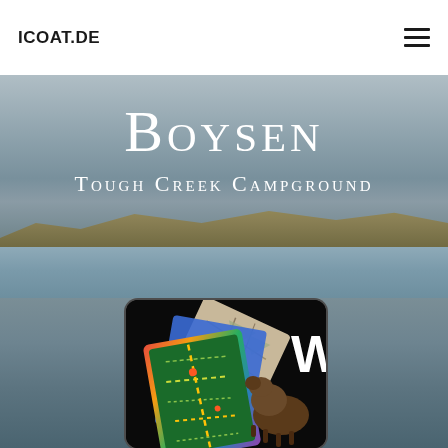ICOAT.DE
Boysen
Tough Creek Campground
[Figure (photo): Landscape photo of Boysen Reservoir with distant hills and water, overlaid with a mobile app card icon showing a green road map card with WY state abbreviation and a buffalo on a black background, with rainbow-colored borders.]